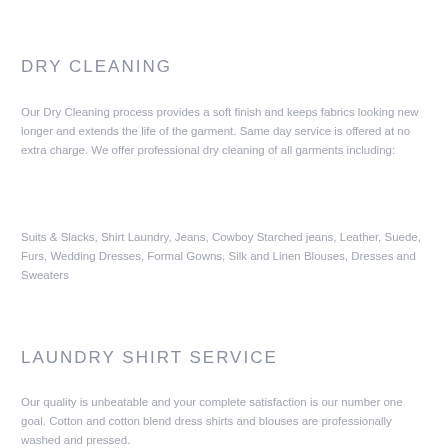DRY CLEANING
Our Dry Cleaning process provides a soft finish and keeps fabrics looking new longer and extends the life of the garment. Same day service is offered at no extra charge. We offer professional dry cleaning of all garments including:
Suits & Slacks, Shirt Laundry, Jeans, Cowboy Starched jeans, Leather, Suede, Furs, Wedding Dresses, Formal Gowns, Silk and Linen Blouses, Dresses and Sweaters
LAUNDRY SHIRT SERVICE
Our quality is unbeatable and your complete satisfaction is our number one goal. Cotton and cotton blend dress shirts and blouses are professionally washed and pressed.